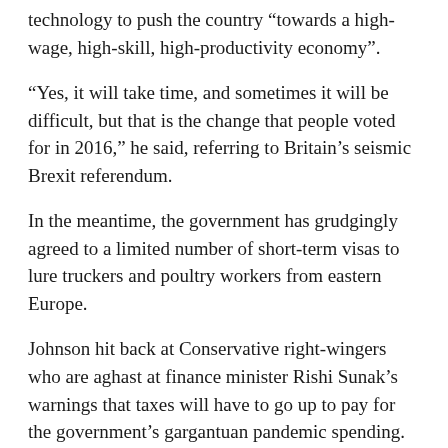technology to push the country “towards a high-wage, high-skill, high-productivity economy”.
“Yes, it will take time, and sometimes it will be difficult, but that is the change that people voted for in 2016,” he said, referring to Britain’s seismic Brexit referendum.
In the meantime, the government has grudgingly agreed to a limited number of short-term visas to lure truckers and poultry workers from eastern Europe.
Johnson hit back at Conservative right-wingers who are aghast at finance minister Rishi Sunak’s warnings that taxes will have to go up to pay for the government’s gargantuan pandemic spending.
Iconic Tory leader Margaret Thatcher would have “wagged her finger and said more borrowing now is just higher interest rates, and even higher taxes later,” he said.